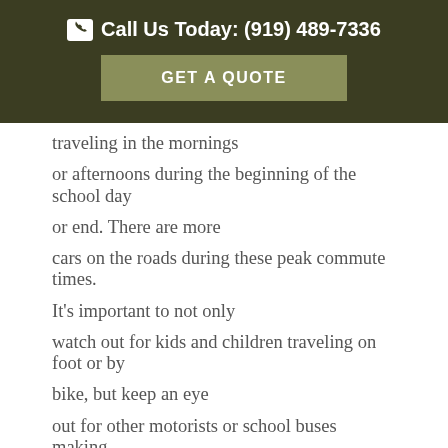📞 Call Us Today: (919) 489-7336
GET A QUOTE
traveling in the mornings or afternoons during the beginning of the school day or end. There are more cars on the roads during these peak commute times. It's important to not only watch out for kids and children traveling on foot or by bike, but keep an eye out for other motorists or school buses making sudden stops. It's always a good idea to allow a few extra minutes in the beginning of